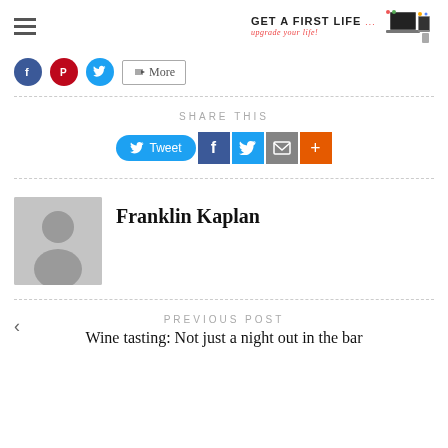Get A First Life — upgrade your life!
[Figure (logo): Get A First Life logo with laptop and devices icon]
[Figure (infographic): Social share buttons: Facebook, Pinterest, Twitter circles and More button]
SHARE THIS
[Figure (infographic): Share buttons: Tweet (Twitter), Facebook, Twitter, Email, More (+)]
[Figure (infographic): Author avatar placeholder (grey silhouette)]
Franklin Kaplan
PREVIOUS POST
Wine tasting: Not just a night out in the bar